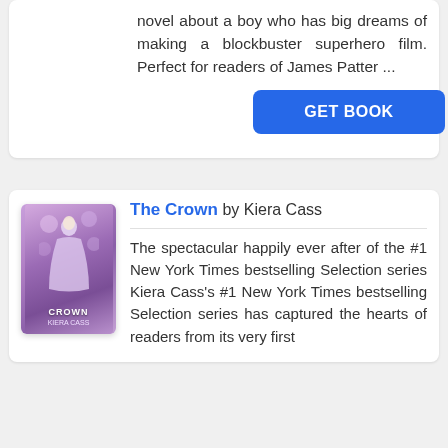novel about a boy who has big dreams of making a blockbuster superhero film. Perfect for readers of James Patter ...
GET BOOK
[Figure (photo): Book cover of The Crown by Kiera Cass, showing a young woman in a lavender/purple gown with floral background]
The Crown by Kiera Cass
The spectacular happily ever after of the #1 New York Times bestselling Selection series Kiera Cass's #1 New York Times bestselling Selection series has captured the hearts of readers from its very first